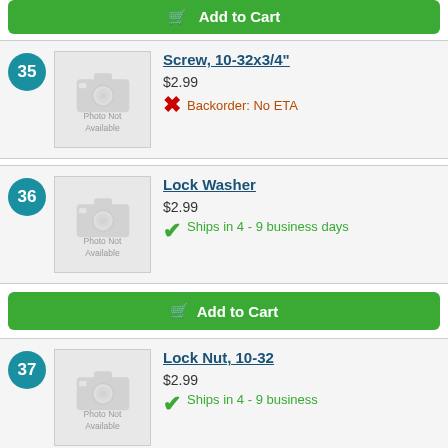[Figure (other): Green Add to Cart button at top (partially visible)]
35
[Figure (photo): Photo Not Available placeholder image]
Screw, 10-32x3/4"
$2.99
Backorder: No ETA
36
[Figure (photo): Photo Not Available placeholder image]
Lock Washer
$2.99
Ships in 4 - 9 business days
[Figure (other): Green Add to Cart button]
37
[Figure (photo): Photo Not Available placeholder image]
Lock Nut, 10-32
$2.99
Ships in 4 - 9 business